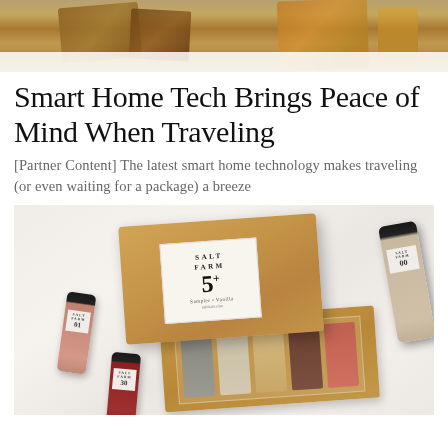[Figure (photo): Top portion of a decorative wooden item or basket with colorful elements, partially cropped at the top of the page]
Smart Home Tech Brings Peace of Mind When Traveling
[Partner Content] The latest smart home technology makes traveling (or even waiting for a package) a breeze
[Figure (photo): Product photo showing Salt Farm branded salt sampler gift set — a kraft cardboard box with white label reading 'SALT FARM 5' and several small glass vials/shakers of different colored salts arranged on a white marble surface]